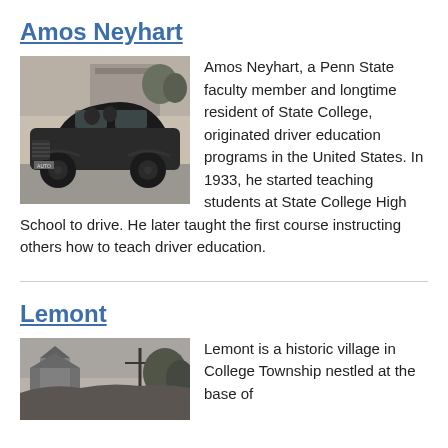Amos Neyhart
[Figure (photo): Black and white vintage photograph of an old automobile from the early 20th century, with passengers visible inside, parked on a road with a building in the background.]
Amos Neyhart, a Penn State faculty member and longtime resident of State College, originated driver education programs in the United States. In 1933, he started teaching students at State College High School to drive. He later taught the first course instructing others how to teach driver education.
Lemont
[Figure (photo): Black and white photograph of a historic village scene showing buildings or structures, partial view.]
Lemont is a historic village in College Township nestled at the base of